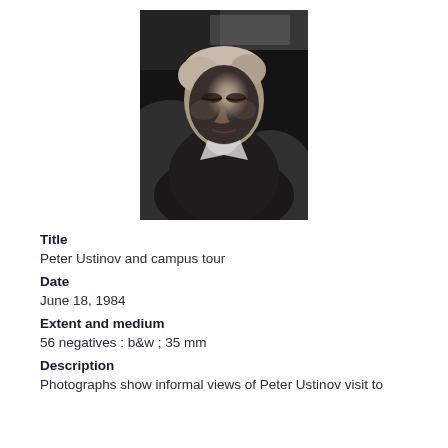[Figure (photo): Black and white photograph of Peter Ustinov, an older man with light hair, looking downward, in a dark environment with blurred background.]
Title
Peter Ustinov and campus tour
Date
June 18, 1984
Extent and medium
56 negatives : b&w ; 35 mm
Description
Photographs show informal views of Peter Ustinov visit to